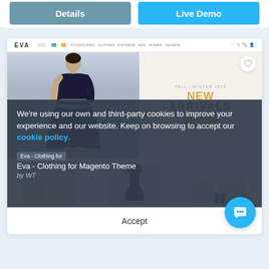[Figure (screenshot): Website screenshot showing Details and Live Demo buttons at top, then EVA fashion theme screenshot with model in dark dress, NEW ARRIVALS banner, three product thumbnails (Outerwear, Dresses, Blouses), overlaid by a cookie consent banner reading 'We're using our own and third-party cookies to improve your experience and our website. Keep on browsing to accept our cookie policy.' with an Accept button, a chat bubble icon, and partial product title 'Eva - Clothing for Magento Theme by WT' visible beneath the overlay.]